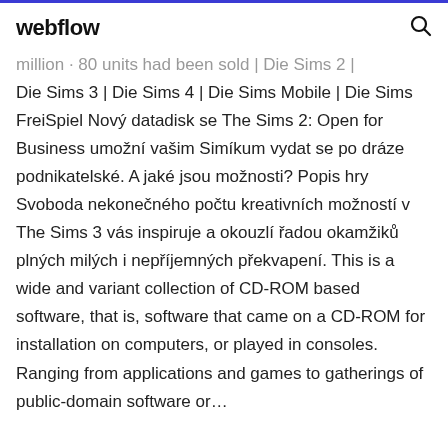webflow
million · 80 units had been sold | Die Sims 2 | Die Sims 3 | Die Sims 4 | Die Sims Mobile | Die Sims FreiSpiel Nový datadisk se The Sims 2: Open for Business umožní vašim Simíkum vydat se po dráze podnikatelské. A jaké jsou možnosti? Popis hry Svoboda nekonečného počtu kreativních možností v The Sims 3 vás inspiruje a okouzlí řadou okamžiků plných milých i nepříjemných překvapení. This is a wide and variant collection of CD-ROM based software, that is, software that came on a CD-ROM for installation on computers, or played in consoles. Ranging from applications and games to gatherings of public-domain software or…